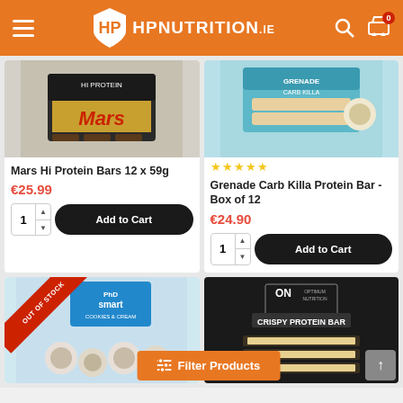HP NUTRITION.ie
[Figure (photo): Mars Hi Protein Bars 12x59g product box]
Mars Hi Protein Bars 12 x 59g
€25.99
[Figure (photo): Grenade Carb Killa Protein Bar Box of 12 with 4.5 star rating]
Grenade Carb Killa Protein Bar - Box of 12
€24.90
[Figure (photo): PhD Smart Bar Cookies & Cream - Out of Stock]
[Figure (photo): Optimum Nutrition Crispy Protein Bar]
Filter Products